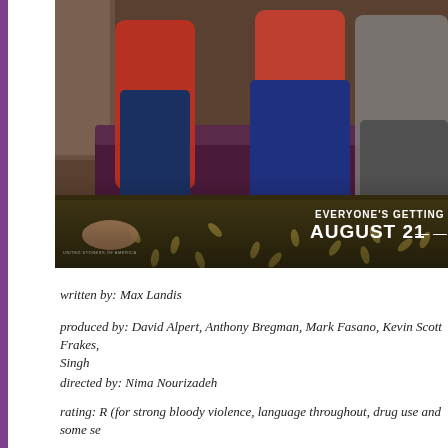[Figure (photo): Movie promotional poster showing people lounging on a sofa with scattered bullet casings on the floor. Text reads 'EVERYONE'S GETTING SMOKED' and 'AUGUST 21' in bold white font on the lower right. Small production credits at bottom left.]
written by: Max Landis
produced by: David Alpert, Anthony Bregman, Mark Fasano, Kevin Scott Frakes, Singh
directed by: Nima Nourizadeh
rating: R (for strong bloody violence, language throughout, drug use and some se